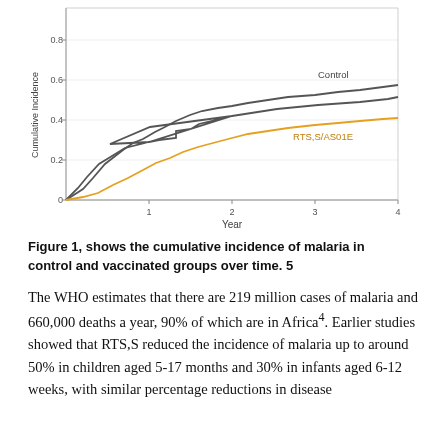[Figure (line-chart): ]
Figure 1, shows the cumulative incidence of malaria in control and vaccinated groups over time. 5
The WHO estimates that there are 219 million cases of malaria and 660,000 deaths a year, 90% of which are in Africa4. Earlier studies showed that RTS,S reduced the incidence of malaria up to around 50% in children aged 5-17 months and 30% in infants aged 6-12 weeks, with similar percentage reductions in disease